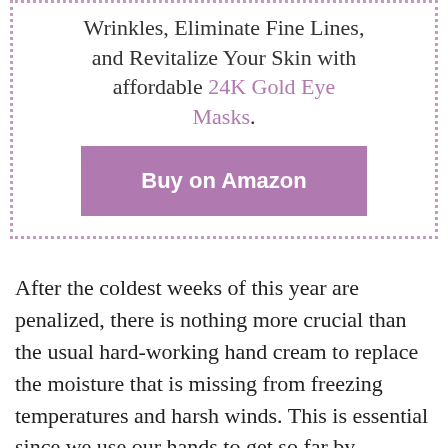Wrinkles, Eliminate Fine Lines, and Revitalize Your Skin with affordable 24K Gold Eye Masks.
[Figure (other): Purple button labeled 'Buy on Amazon']
After the coldest weeks of this year are penalized, there is nothing more crucial than the usual hard-working hand cream to replace the moisture that is missing from freezing temperatures and harsh winds. This is essential since we use our hands to get so far by